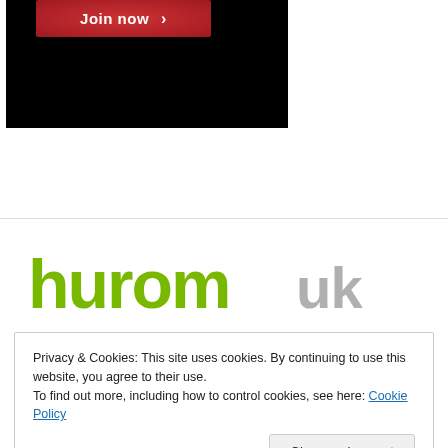[Figure (screenshot): Black background area with a red 'Join now >' button in the center-left region]
[Figure (logo): Hurom UK logo in green and grey text]
Privacy & Cookies: This site uses cookies. By continuing to use this website, you agree to their use.
To find out more, including how to control cookies, see here: Cookie Policy
Close and accept